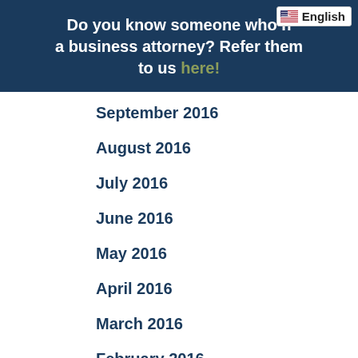Do you know someone who needs a business attorney? Refer them to us here!
September 2016
August 2016
July 2016
June 2016
May 2016
April 2016
March 2016
February 2016
January 2016
December 2015